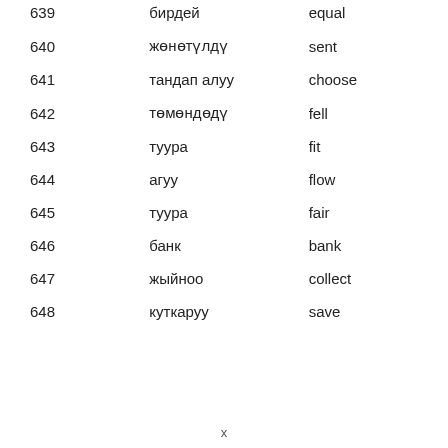| # | Kyrgyz | English |
| --- | --- | --- |
| 639 | бирдей | equal |
| 640 | жөнөтүлдү | sent |
| 641 | тандап алуу | choose |
| 642 | төмөндөдү | fell |
| 643 | туура | fit |
| 644 | агуу | flow |
| 645 | туура | fair |
| 646 | банк | bank |
| 647 | жыйноо | collect |
| 648 | куткаруу | save |
x